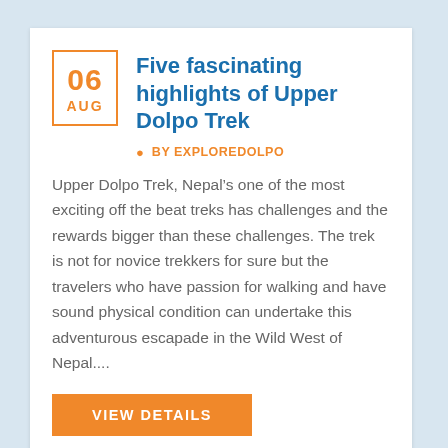Five fascinating highlights of Upper Dolpo Trek
BY EXPLOREDOLPO
Upper Dolpo Trek, Nepal’s one of the most exciting off the beat treks has challenges and the rewards bigger than these challenges. The trek is not for novice trekkers for sure but the travelers who have passion for walking and have sound physical condition can undertake this adventurous escapade in the Wild West of Nepal....
VIEW DETAILS